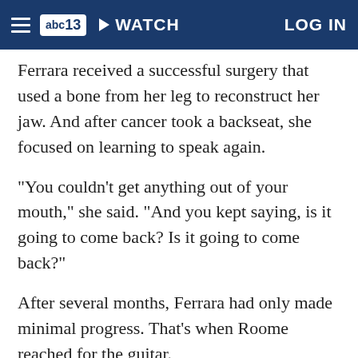abc13 | WATCH | LOG IN
Ferrara received a successful surgery that used a bone from her leg to reconstruct her jaw. And after cancer took a backseat, she focused on learning to speak again.
"You couldn't get anything out of your mouth," she said. "And you kept saying, is it going to come back? Is it going to come back?"
After several months, Ferrara had only made minimal progress. That's when Roome reached for the guitar.
"I got the idea to start getting her to sing along with me, which would strengthen her voice," said Roome. "And it's worked pretty good because she's come a